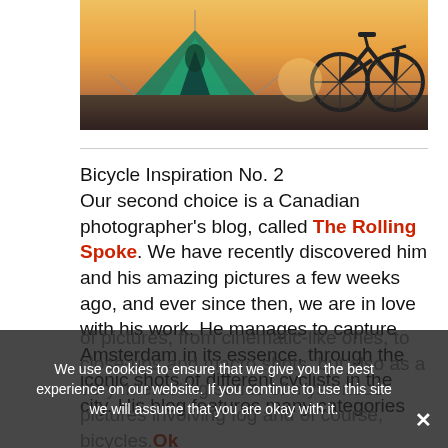[Figure (photo): Photograph of a tent and a bicycle silhouetted against a warm sunset sky]
Bicycle Inspiration No. 2
Our second choice is a Canadian photographer's blog, called The Rolling Spoke. We have recently discovered him and his amazing pictures a few weeks ago, and ever since then, we are in love with his work. He manages to capture Amsterdam in its essence, through the iconic shots of different cyclists in the city. His blog features many categories of pictures, from cinematic-like ones, to close-ups and macro shots, but also as a very interesting series of mysterious pictures involving fog and of course, bicycles.
We use cookies to ensure that we give you the best experience on our website. If you continue to use this site we will assume that you are okay with it.